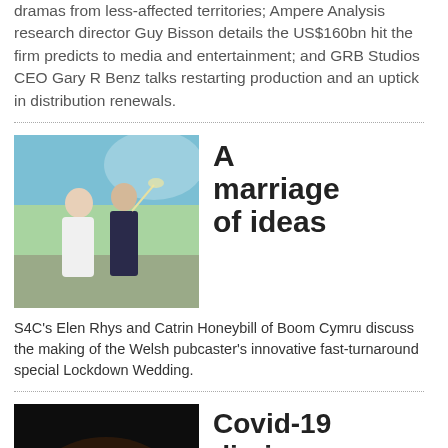dramas from less-affected territories; Ampere Analysis research director Guy Bisson details the US$160bn hit the firm predicts to media and entertainment; and GRB Studios CEO Gary R Benz talks restarting production and an uptick in distribution renewals.
[Figure (photo): Outdoor wedding photo of couple celebrating with champagne]
A marriage of ideas
S4C’s Elen Rhys and Catrin Honeybill of Boom Cymru discuss the making of the Welsh pubcaster’s innovative fast-turnaround special Lockdown Wedding.
[Figure (logo): C21 Podcast logo on dark background with green and orange stylized letters]
Covid-19 diaries: